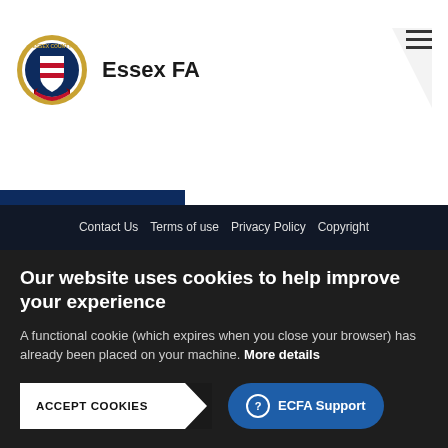[Figure (logo): Essex County Football Association circular crest logo with red and blue shield, gold border]
Essex FA
Contact Us   Terms of use   Privacy Policy   Copyright
Our website uses cookies to help improve your experience
A functional cookie (which expires when you close your browser) has already been placed on your machine. More details
ACCEPT COOKIES
ECFA Support